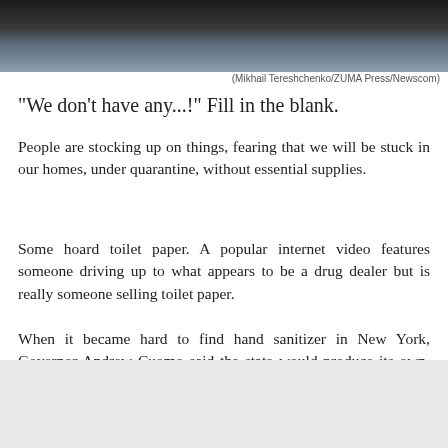[Figure (photo): Top portion of a photograph showing a dark interior scene with a light-colored tote bag visible]
(Mikhail Tereshchenko/ZUMA Press/Newscom)
"We don't have any...!" Fill in the blank.
People are stocking up on things, fearing that we will be stuck in our homes, under quarantine, without essential supplies.
Some hoard toilet paper. A popular internet video features someone driving up to what appears to be a drug dealer but is really someone selling toilet paper.
When it became hard to find hand sanitizer in New York, Governor Andrew Cuomo said the state would produce its own, made by prison labor.
[Figure (photo): Bottom portion of a photograph, showing a light gray/white background]